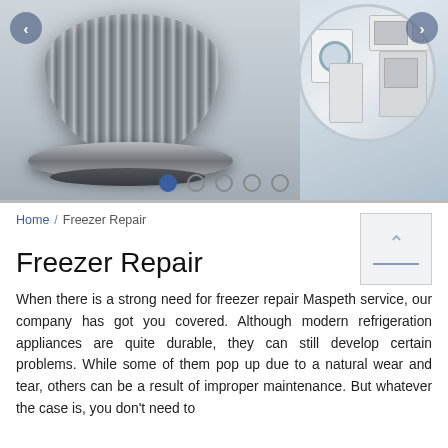[Figure (photo): Hero slider showing a stainless steel appliance knob close-up on the left, and a circular inset image of various white kitchen appliances (washing machine, microwave, oven, dishwasher) on the right, with navigation arrows and 5 dot indicators.]
Home / Freezer Repair
Freezer Repair
When there is a strong need for freezer repair Maspeth service, our company has got you covered. Although modern refrigeration appliances are quite durable, they can still develop certain problems. While some of them pop up due to a natural wear and tear, others can be a result of improper maintenance. But whatever the case is, you don't need to